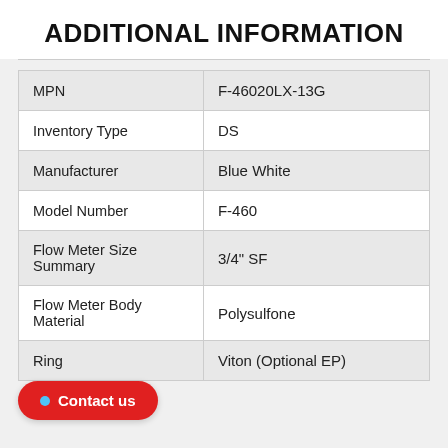ADDITIONAL INFORMATION
| MPN | F-46020LX-13G |
| Inventory Type | DS |
| Manufacturer | Blue White |
| Model Number | F-460 |
| Flow Meter Size Summary | 3/4" SF |
| Flow Meter Body Material | Polysulfone |
| Ring | Viton (Optional EP) |